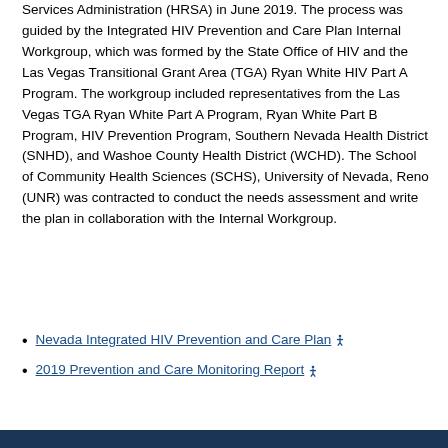Services Administration (HRSA) in June 2019. The process was guided by the Integrated HIV Prevention and Care Plan Internal Workgroup, which was formed by the State Office of HIV and the Las Vegas Transitional Grant Area (TGA) Ryan White HIV Part A Program. The workgroup included representatives from the Las Vegas TGA Ryan White Part A Program, Ryan White Part B Program, HIV Prevention Program, Southern Nevada Health District (SNHD), and Washoe County Health District (WCHD). The School of Community Health Sciences (SCHS), University of Nevada, Reno (UNR) was contracted to conduct the needs assessment and write the plan in collaboration with the Internal Workgroup.
Nevada Integrated HIV Prevention and Care Plan
2019 Prevention and Care Monitoring Report